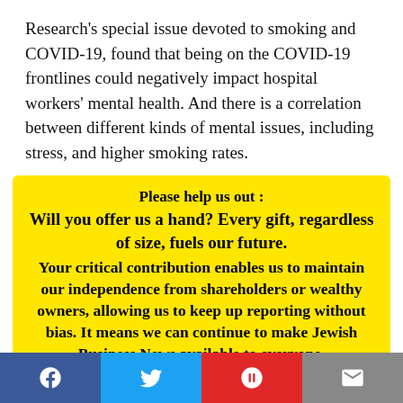Research's special issue devoted to smoking and COVID-19, found that being on the COVID-19 frontlines could negatively impact hospital workers' mental health. And there is a correlation between different kinds of mental issues, including stress, and higher smoking rates.
Please help us out : Will you offer us a hand? Every gift, regardless of size, fuels our future. Your critical contribution enables us to maintain our independence from shareholders or wealthy owners, allowing us to keep up reporting without bias. It means we can continue to make Jewish Business News available to everyone. You can support us for as little as $1 via PayPal
[Figure (other): Social share bar with Facebook, Twitter, Flipboard, and email buttons]